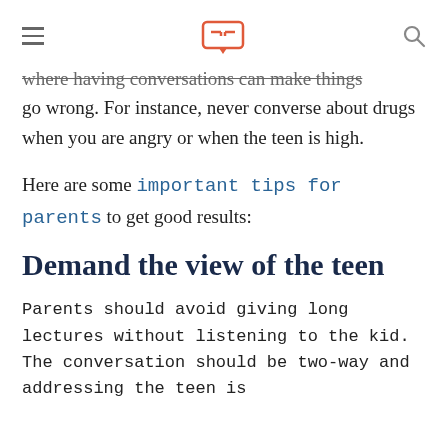[logo] [hamburger menu] [search icon]
where having conversations can make things go wrong. For instance, never converse about drugs when you are angry or when the teen is high.
Here are some important tips for parents to get good results:
Demand the view of the teen
Parents should avoid giving long lectures without listening to the kid. The conversation should be two-way and addressing the teen is